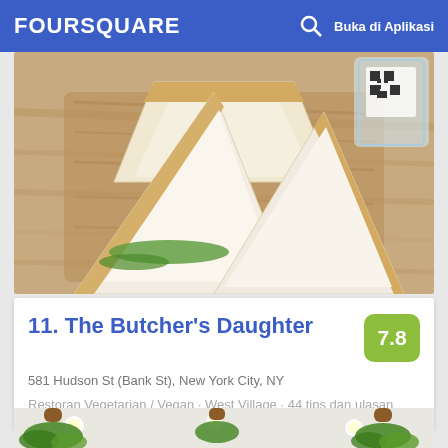FOURSQUARE  Buka di Aplikasi
[Figure (photo): Photo of sandwich with white bread slices on a wooden cutting board, with a glass and QR code visible in background]
11. The Butcher's Daughter
7.8
581 Hudson St (Bank St), New York City, NY
Restoran Vegetarian / Vegan · West Village · 44 tips dan ulasan
[Figure (photo): Photo of hanging potted plants with green leaves, seen from below against a white ceiling with recessed lights]